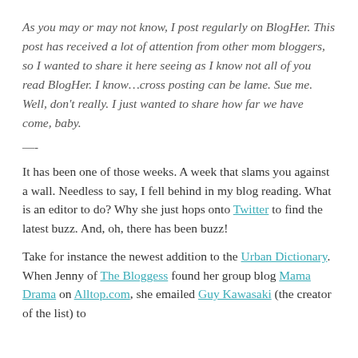As you may or may not know, I post regularly on BlogHer. This post has received a lot of attention from other mom bloggers, so I wanted to share it here seeing as I know not all of you read BlogHer. I know…cross posting can be lame. Sue me. Well, don't really. I just wanted to share how far we have come, baby.
—-
It has been one of those weeks. A week that slams you against a wall. Needless to say, I fell behind in my blog reading. What is an editor to do? Why she just hops onto Twitter to find the latest buzz. And, oh, there has been buzz!
Take for instance the newest addition to the Urban Dictionary. When Jenny of The Bloggess found her group blog Mama Drama on Alltop.com, she emailed Guy Kawasaki (the creator of the list) to